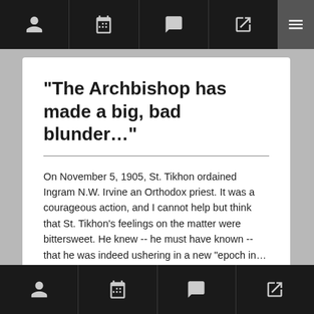[Navigation bar with user, calendar, comment, share icons and menu button]
“The Archbishop has made a big, bad blunder…”
On November 5, 1905, St. Tikhon ordained Ingram N.W. Irvine an Orthodox priest. It was a courageous action, and I cannot help but think that St. Tikhon’s feelings on the matter were bittersweet. He knew –– he must have known –– that he was indeed ushering in a new “epoch in…
[Navigation bar with user, calendar, comment, share icons]